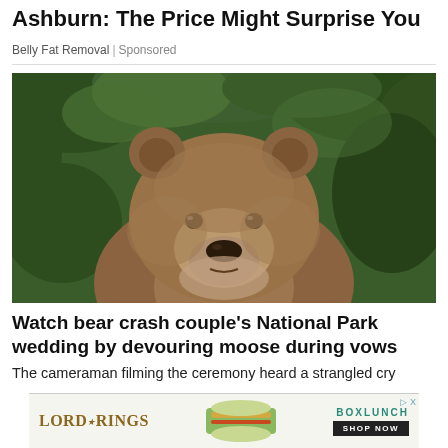Ashburn: The Price Might Surprise You
Belly Fat Removal | Sponsored
[Figure (photo): Close-up photograph of a large brown grizzly bear facing the camera, with green foliage in the background]
Watch bear crash couple's National Park wedding by devouring moose during vows
The cameraman filming the ceremony heard a strangled cry
[Figure (other): Advertisement banner for Lord of the Rings x BoxLunch collaboration with a Shop Now button]